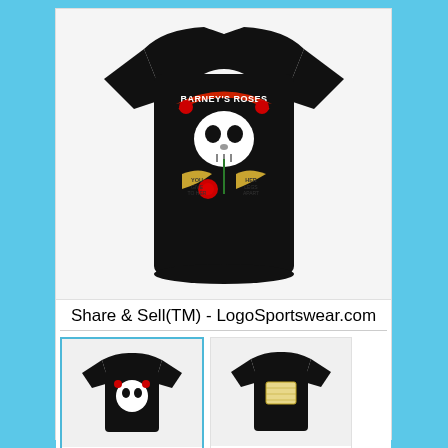[Figure (photo): Black t-shirt with Barney's Roses skull graphic design featuring a skull biting a rose, roses decorative elements, and banners with text]
Share & Sell(TM) - LogoSportswear.com
[Figure (photo): Small thumbnail of the same Barney's Roses black t-shirt design]
Share & Sell(TM) - LogoSportswear.com
[Figure (photo): Small thumbnail of another black t-shirt with a label tag graphic]
Share & Sell(TM) - LogoSportswear.com